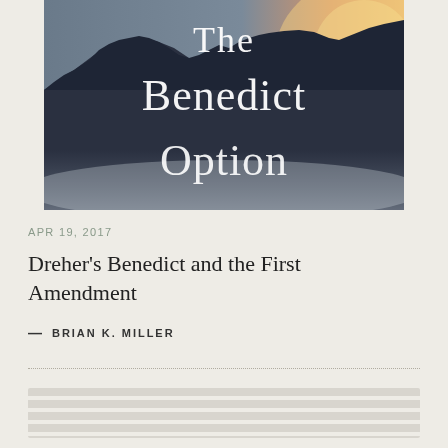[Figure (illustration): Book cover of 'The Benedict Option' showing a dark rocky cliff or mountain formation in silhouette against a warm golden/orange sky. White serif text reads 'The Benedict Option' overlaid on the image.]
APR 19, 2017
Dreher's Benedict and the First Amendment
— BRIAN K. MILLER